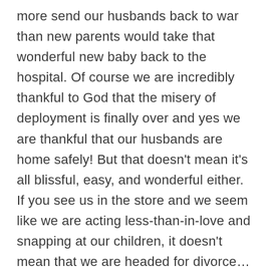more send our husbands back to war than new parents would take that wonderful new baby back to the hospital. Of course we are incredibly thankful to God that the misery of deployment is finally over and yes we are thankful that our husbands are home safely! But that doesn't mean it's all blissful, easy, and wonderful either.  If you see us in the store and we seem like we are acting less-than-in-love and snapping at our children, it doesn't mean that we are headed for divorce…it may just mean that daddy had a nightmare which woke up the baby and then neither daddy or baby could go back to sleep and mommy was a